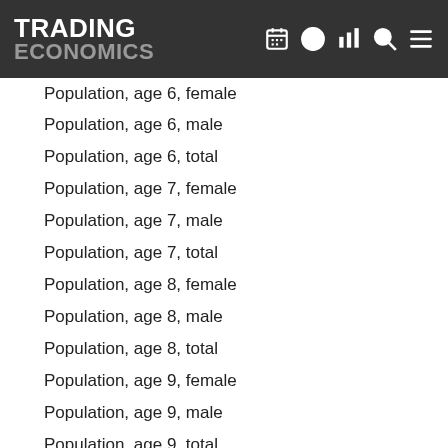TRADING ECONOMICS
Population, age 6, female
Population, age 6, male
Population, age 6, total
Population, age 7, female
Population, age 7, male
Population, age 7, total
Population, age 8, female
Population, age 8, male
Population, age 8, total
Population, age 9, female
Population, age 9, male
Population, age 9, total
Population, ages 10-14, female
Population, ages 10-14, male
Population, ages 10-14, total
Population, ages 10-15, female
Population, ages 10-15, male
Population, ages 10-15, total
Population, ages 10-16, female